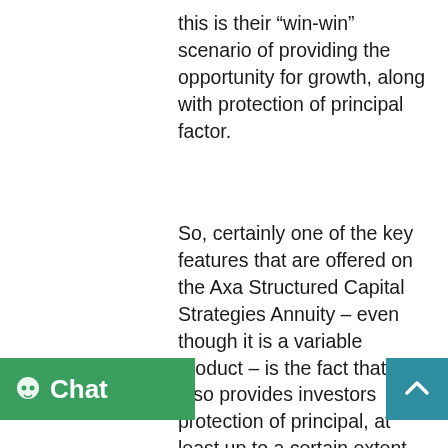this is their “win-win” scenario of providing the opportunity for growth, along with protection of principal factor.
So, certainly one of the key features that are offered on the Axa Structured Capital Strategies Annuity – even though it is a variable product – is the fact that it also provides investors protection of principal, at least up to a certain extent, while at the same time offering the potential for growing funds based on market performance. Investors may also like the fact that they can transfer between investment options at the end of one, three, or five-year segments.